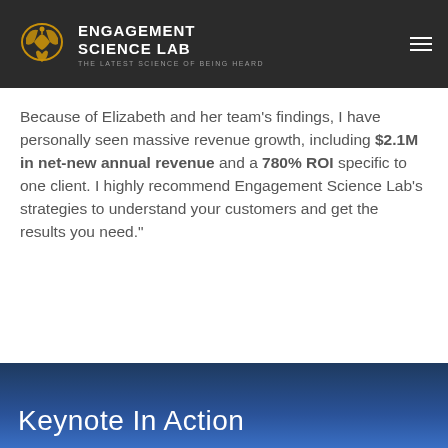[Figure (logo): Engagement Science Lab logo with golden brain/heart icon and tagline 'THE LATEST SCIENCE OF BEING HEARD' on dark background header]
Because of Elizabeth and her team's findings, I have personally seen massive revenue growth, including $2.1M in net-new annual revenue and a 780% ROI specific to one client. I highly recommend Engagement Science Lab's strategies to understand your customers and get the results you need."
Keynote In Action